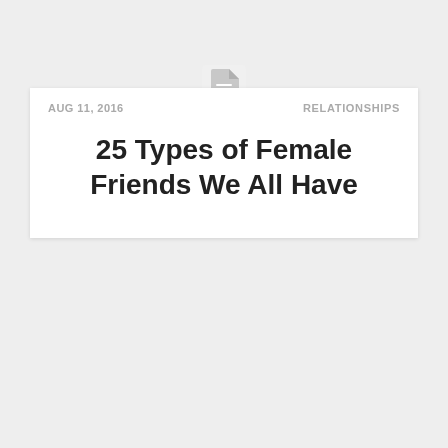[Figure (illustration): Document icon — a page with lines, light gray, centered above the card]
AUG 11, 2016   RELATIONSHIPS
25 Types of Female Friends We All Have